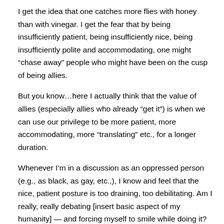I get the idea that one catches more flies with honey than with vinegar. I get the fear that by being insufficiently patient, being insufficiently nice, being insufficiently polite and accommodating, one might “chase away” people who might have been on the cusp of being allies.
But you know…here I actually think that the value of allies (especially allies who already “get it”) is when we can use our privilege to be more patient, more accommodating, more “translating” etc., for a longer duration.
Whenever I’m in a discussion as an oppressed person (e.g., as black, as gay, etc.,), I know and feel that the nice, patient posture is too draining, too debilitating. Am I really, really debating [insert basic aspect of my humanity] — and forcing myself to smile while doing it? But when I’m in a discussion as a privileged ally (e.g., as male, as someone of socioeconomic comfort), I have a buffer because it’s not as personal. So my privilege gives me a choice — the same privilege can be used